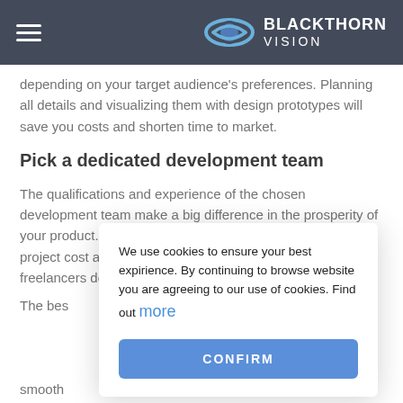BLACKTHORN VISION
depending on your target audience's preferences. Planning all details and visualizing them with design prototypes will save you costs and shorten time to market.
Pick a dedicated development team
The qualifications and experience of the chosen development team make a big difference in the prosperity of your product. Hiring in-house developers increases the project cost and requires additional time while working with freelancers doesn't guarant
The bes... ence in health... n your project... ess from hir... accelere... es smooth
We use cookies to ensure your best expirience. By continuing to browse website you are agreeing to our use of cookies. Find out more
CONFIRM